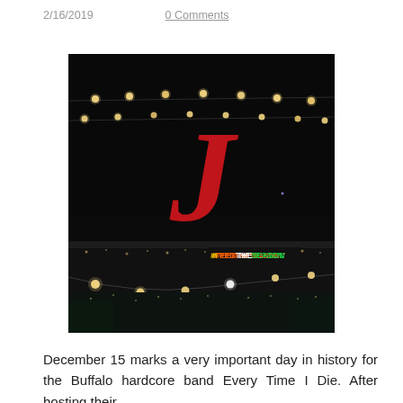2/16/2019    0 Comments
[Figure (photo): Nighttime outdoor photo showing string lights against a dark sky, a large red gothic letter 'J' illuminated in the center, and a colorful '#FEEDTHESEASON' sign in the lower right area. Distant city lights visible along the horizon.]
December 15 marks a very important day in history for the Buffalo hardcore band Every Time I Die. After hosting their